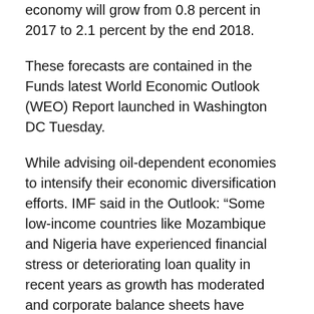economy will grow from 0.8 percent in 2017 to 2.1 percent by the end 2018.
These forecasts are contained in the Funds latest World Economic Outlook (WEO) Report launched in Washington DC Tuesday.
While advising oil-dependent economies to intensify their economic diversification efforts. IMF said in the Outlook: “Some low-income countries like Mozambique and Nigeria have experienced financial stress or deteriorating loan quality in recent years as growth has moderated and corporate balance sheets have weakened.
“Further deterioration in loan quality would impair credit intermediation and ability of the banking sector to support growth, which would raise the risk of cost recapitalisation and severely burden the already strained public finances.”
...